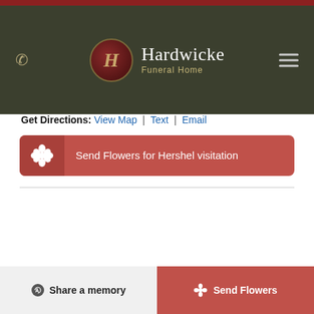[Figure (logo): Hardwicke Funeral Home logo with dark olive green header, circular emblem with stylized H in dark red/gold, and text 'Hardwicke Funeral Home' in white serif font]
Monday, February 14th, 2022 8:00am - 5:00pm
Location
Hardwicke Funeral Home
Address
509 W MAIN
CLARKSVILLE, Arkansas
Get Directions: View Map | Text | Email
Send Flowers for Hershel visitation
Share a memory
Send Flowers